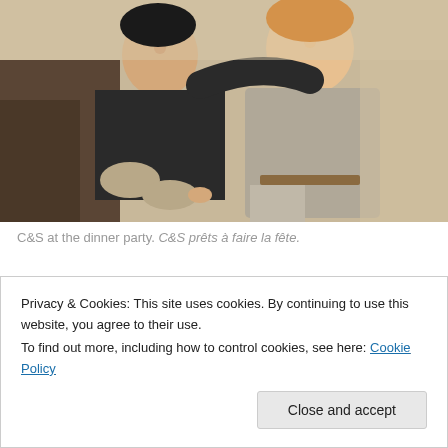[Figure (photo): Two people (C&S) sitting together at a dinner party. One person in a black shirt with arm around another person wearing a gray sleeveless top.]
C&S at the dinner party. C&S prêts à faire la fête.
October 17, 2012
1 Reply
Privacy & Cookies: This site uses cookies. By continuing to use this website, you agree to their use.
To find out more, including how to control cookies, see here: Cookie Policy
Close and accept